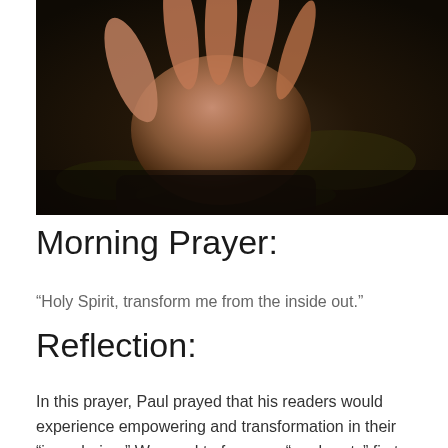[Figure (photo): Close-up photograph of an open human hand held upward against a dark bokeh background with autumn leaves on the ground]
Morning Prayer:
“Holy Spirit, transform me from the inside out.”
Reflection:
In this prayer, Paul prayed that his readers would experience empowering and transformation in their “inner being.” We need to focus on “our hearts” first